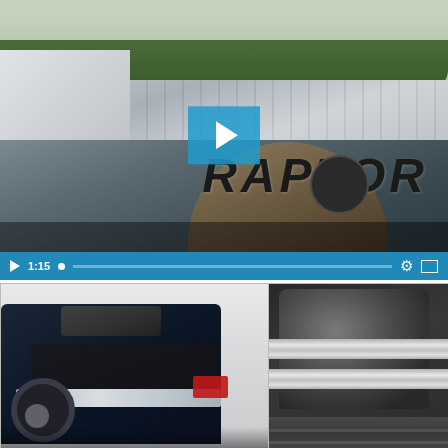[Figure (screenshot): Video player showing a Ford F-150 Raptor truck with a tonneau cover. Play button overlay in the center. Video controls bar at the bottom showing 1:15 timestamp, progress bar, settings and fullscreen icons.]
[Figure (photo): Close-up photo of a dark blue pickup truck with a rolled-up tonneau cover partially open, showing the truck bed]
[Figure (photo): Close-up macro photo of a cylindrical locking mechanism with silver/chrome rings on a dark matte surface]
FLUSH FIT
UNMATCHED SECURITY
The Revolver X2 conveniently works like a roll-up tonneau cover, but the clever design
BAK's patented Rotational Locking Rails allows the side mounting rails to